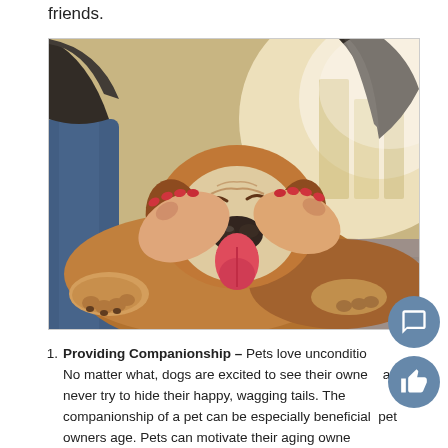friends.
[Figure (photo): A woman with red nail polish crouching and petting a happy bulldog lying on a cobblestone street. The dog has its tongue out and eyes half-closed contentedly. The background shows a blurred street scene with warm sunlight.]
Providing Companionship – Pets love unconditionally. No matter what, dogs are excited to see their owners and never try to hide their happy, wagging tails. The companionship of a pet can be especially beneficial as pet owners age. Pets can motivate their aging owners.